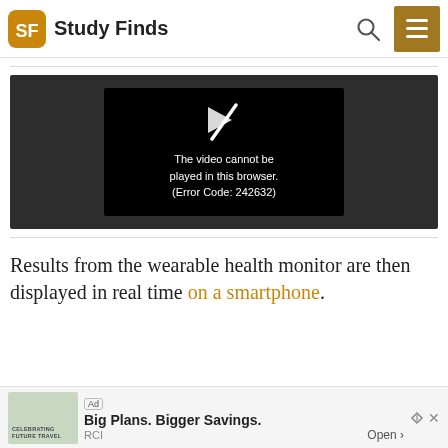Study Finds
[Figure (screenshot): Video player showing error: 'The video cannot be played in this browser. (Error Code: 242632)']
Results from the wearable health monitor are then displayed in real time on a smartphone.
[Figure (other): Advertisement banner: 'Ad – Big Plans. Bigger Savings. – RCI – Open']